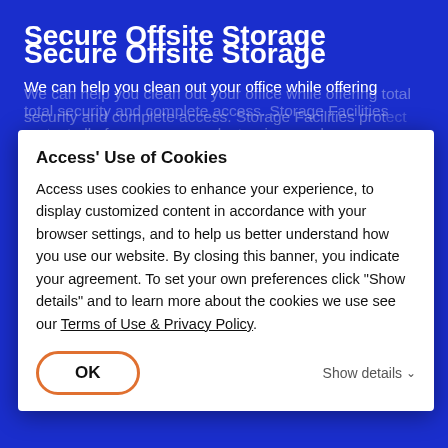Secure Offsite Storage
We can help you clean out your office while offering total security and complete access. Storage Facilities protect all of your paper or electronic records.
Access' Use of Cookies
Access uses cookies to enhance your experience, to display customized content in accordance with your browser settings, and to help us better understand how you use our website. By closing this banner, you indicate your agreement. To set your own preferences click "Show details" and to learn more about the cookies we use see our Terms of Use & Privacy Policy.
OK
Show details